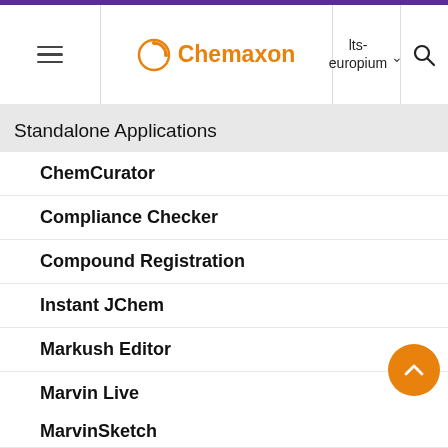Chemaxon | lts-europium
Standalone Applications
ChemCurator
Compliance Checker
Compound Registration
Instant JChem
Markush Editor
Marvin Live
MarvinSketch
Introduction to MarvinSketch
in casca it is much more efficie to run a search only ce using